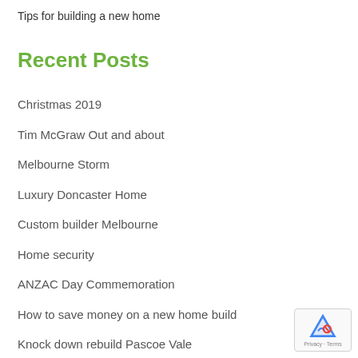Tips for building a new home
Recent Posts
Christmas 2019
Tim McGraw Out and about
Melbourne Storm
Luxury Doncaster Home
Custom builder Melbourne
Home security
ANZAC Day Commemoration
How to save money on a new home build
Knock down rebuild Pascoe Vale
Steamfest in Scoresby for new home builders